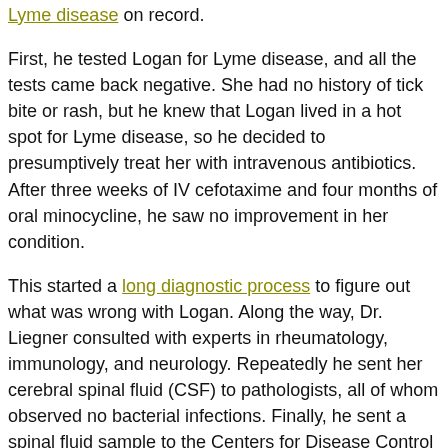Lyme disease on record.
First, he tested Logan for Lyme disease, and all the tests came back negative. She had no history of tick bite or rash, but he knew that Logan lived in a hot spot for Lyme disease, so he decided to presumptively treat her with intravenous antibiotics. After three weeks of IV cefotaxime and four months of oral minocycline, he saw no improvement in her condition.
This started a long diagnostic process to figure out what was wrong with Logan. Along the way, Dr. Liegner consulted with experts in rheumatology, immunology, and neurology. Repeatedly he sent her cerebral spinal fluid (CSF) to pathologists, all of whom observed no bacterial infections. Finally, he sent a spinal fluid sample to the Centers for Disease Control (CDC), and, when the fluid was placed in a special BSK-II growth medium, spirochetes began